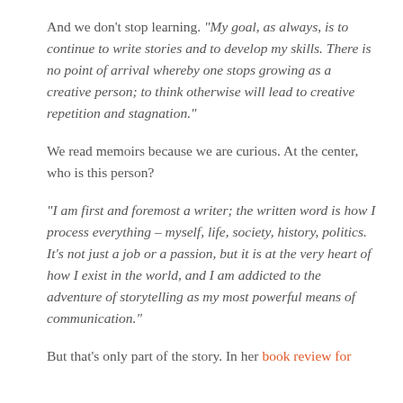And we don't stop learning. "My goal, as always, is to continue to write stories and to develop my skills. There is no point of arrival whereby one stops growing as a creative person; to think otherwise will lead to creative repetition and stagnation."
We read memoirs because we are curious. At the center, who is this person?
"I am first and foremost a writer; the written word is how I process everything – myself, life, society, history, politics. It's not just a job or a passion, but it is at the very heart of how I exist in the world, and I am addicted to the adventure of storytelling as my most powerful means of communication."
But that's only part of the story. In her book review for